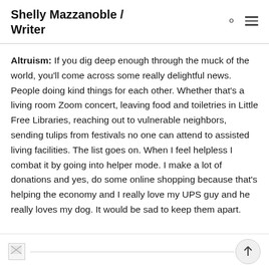Shelly Mazzanoble / Writer
Altruism: If you dig deep enough through the muck of the world, you'll come across some really delightful news. People doing kind things for each other. Whether that's a living room Zoom concert, leaving food and toiletries in Little Free Libraries, reaching out to vulnerable neighbors, sending tulips from festivals no one can attend to assisted living facilities. The list goes on. When I feel helpless I combat it by going into helper mode. I make a lot of donations and yes, do some online shopping because that's helping the economy and I really love my UPS guy and he really loves my dog. It would be sad to keep them apart.
[Figure (other): Broken image placeholder at the bottom of the page with a horizontal line and a scroll-to-top button]